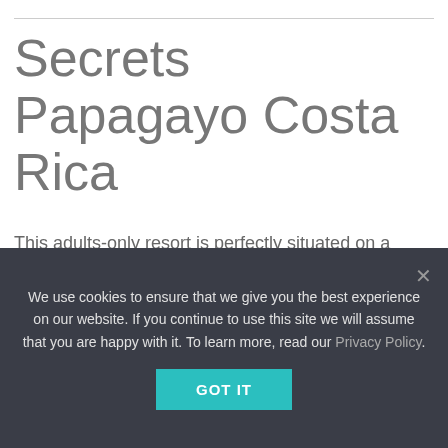Secrets Papagayo Costa Rica
This adults-only resort is perfectly situated on a serene beachfront and surrounded by lush tropical gardens, this hideaway will offer an Unlimited-Luxury experience in one of the most romantic and intimate settings imaginable.
Starting at $1374.00+
We use cookies to ensure that we give you the best experience on our website. If you continue to use this site we will assume that you are happy with it. To learn more, read our Privacy Policy.
GOT IT